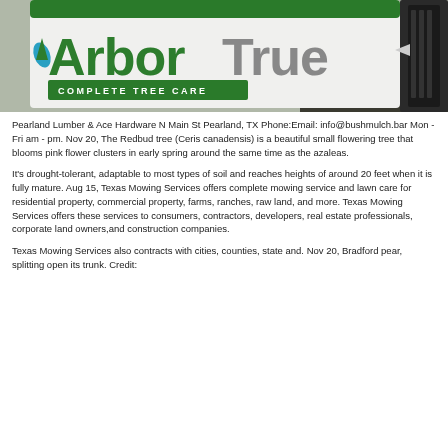[Figure (photo): Photo of an ArborTrue Complete Tree Care branded white truck/vehicle door with green logo and lettering. A tire is visible on the right side.]
Pearland Lumber & Ace Hardware N Main St Pearland, TX Phone:Email: info@bushmulch.bar Mon - Fri am - pm. Nov 20, The Redbud tree (Ceris canadensis) is a beautiful small flowering tree that blooms pink flower clusters in early spring around the same time as the azaleas.
It's drought-tolerant, adaptable to most types of soil and reaches heights of around 20 feet when it is fully mature. Aug 15, Texas Mowing Services offers complete mowing service and lawn care for residential property, commercial property, farms, ranches, raw land, and more. Texas Mowing Services offers these services to consumers, contractors, developers, real estate professionals, corporate land owners,and construction companies.
Texas Mowing Services also contracts with cities, counties, state and. Nov 20, Bradford pear, splitting open its trunk. Credit: